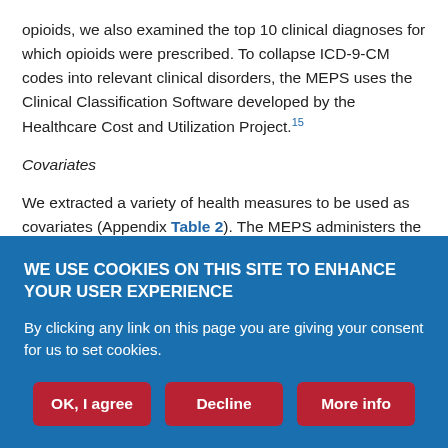opioids, we also examined the top 10 clinical diagnoses for which opioids were prescribed. To collapse ICD-9-CM codes into relevant clinical disorders, the MEPS uses the Clinical Classification Software developed by the Healthcare Cost and Utilization Project.15
Covariates
We extracted a variety of health measures to be used as covariates (Appendix Table 2). The MEPS administers the 12-Item Short Form Survey (SF-12) to participants.16 From these data, we calculated the mean physical component summary (PCS) and mental component summary (MCS) scores of the SF-12 (PCS and MCS scores range
WE USE COOKIES ON THIS SITE TO ENHANCE YOUR USER EXPERIENCE
By clicking any link on this page you are giving your consent for us to set cookies.